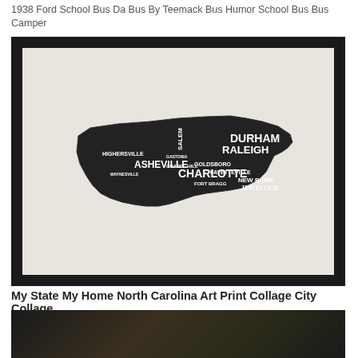1938 Ford School Bus Da Bus By Teemack Bus Humor School Bus Bus Camper
[Figure (photo): Framed art print of North Carolina state typography map, showing city names arranged in the shape of North Carolina, displayed in a black frame with white mat]
My State My Home North Carolina Art Print Collage City Collage
[Figure (photo): Dark photograph showing a dark interior scene, partially visible at the bottom of the page]